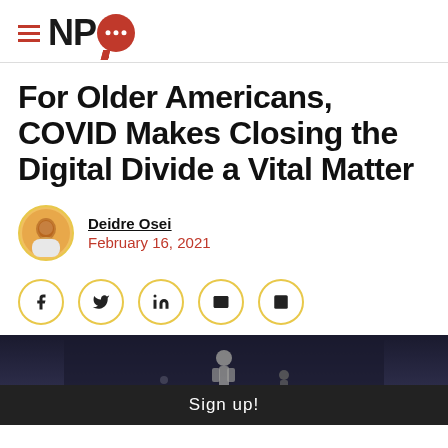NPQ
For Older Americans, COVID Makes Closing the Digital Divide a Vital Matter
Deidre Osei
February 16, 2021
[Figure (infographic): Social share buttons: Facebook, Twitter, LinkedIn, Email, Print — each in a circle with yellow/gold border]
[Figure (photo): Dark nighttime image with small silhouette figure, partially visible at bottom of page with a 'Sign up!' overlay bar]